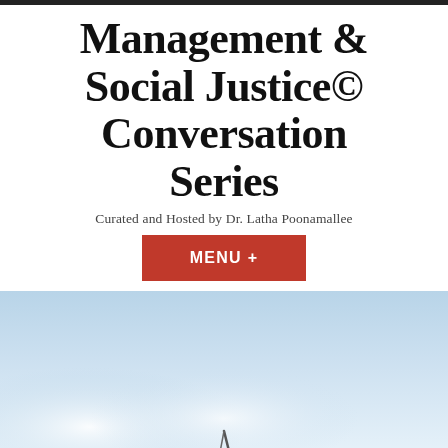Management & Social Justice© Conversation Series
Curated and Hosted by Dr. Latha Poonamallee
[Figure (other): Red button labeled MENU +]
[Figure (photo): Light blue sky background with soft bokeh lighting and a partial view of an object at the bottom]